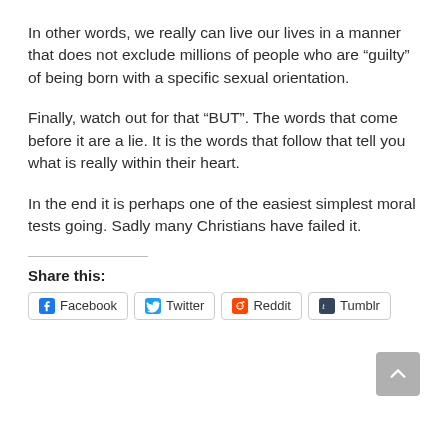In other words, we really can live our lives in a manner that does not exclude millions of people who are “guilty” of being born with a specific sexual orientation.
Finally, watch out for that “BUT”. The words that come before it are a lie. It is the words that follow that tell you what is really within their heart.
In the end it is perhaps one of the easiest simplest moral tests going. Sadly many Christians have failed it.
Share this:
Facebook  Twitter  Reddit  Tumblr